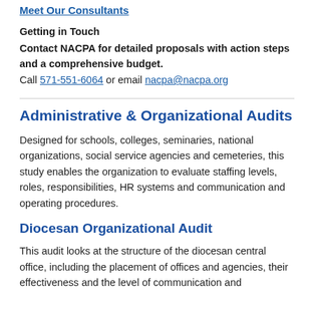Meet Our Consultants
Getting in Touch
Contact NACPA for detailed proposals with action steps and a comprehensive budget.
Call 571-551-6064 or email nacpa@nacpa.org
Administrative & Organizational Audits
Designed for schools, colleges, seminaries, national organizations, social service agencies and cemeteries, this study enables the organization to evaluate staffing levels, roles, responsibilities, HR systems and communication and operating procedures.
Diocesan Organizational Audit
This audit looks at the structure of the diocesan central office, including the placement of offices and agencies, their effectiveness and the level of communication and